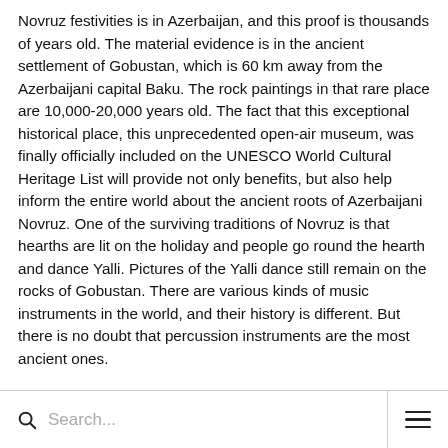Novruz festivities is in Azerbaijan, and this proof is thousands of years old. The material evidence is in the ancient settlement of Gobustan, which is 60 km away from the Azerbaijani capital Baku. The rock paintings in that rare place are 10,000-20,000 years old. The fact that this exceptional historical place, this unprecedented open-air museum, was finally officially included on the UNESCO World Cultural Heritage List will provide not only benefits, but also help inform the entire world about the ancient roots of Azerbaijani Novruz. One of the surviving traditions of Novruz is that hearths are lit on the holiday and people go round the hearth and dance Yalli. Pictures of the Yalli dance still remain on the rocks of Gobustan. There are various kinds of music instruments in the world, and their history is different. But there is no doubt that percussion instruments are the most ancient ones.
Drums are beaten on the day when Novruz comes.The verses of Our Mother Book, the ancient ballad of the Azerbaijani people, Dede Gorgud, say that “drums were beaten loudly on the festive days”. In Gobustan, there is the
Search...